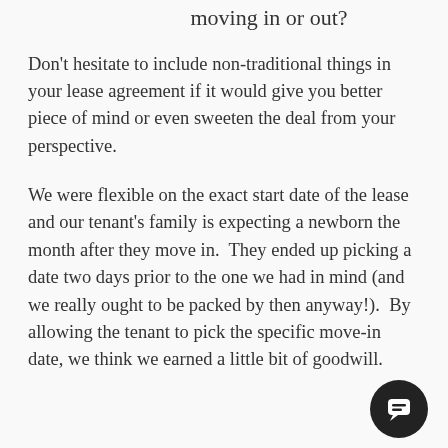moving in or out?
Don't hesitate to include non-traditional things in your lease agreement if it would give you better piece of mind or even sweeten the deal from your perspective.
We were flexible on the exact start date of the lease and our tenant's family is expecting a newborn the month after they move in.  They ended up picking a date two days prior to the one we had in mind (and we really ought to be packed by then anyway!).  By allowing the tenant to pick the specific move-in date, we think we earned a little bit of goodwill.